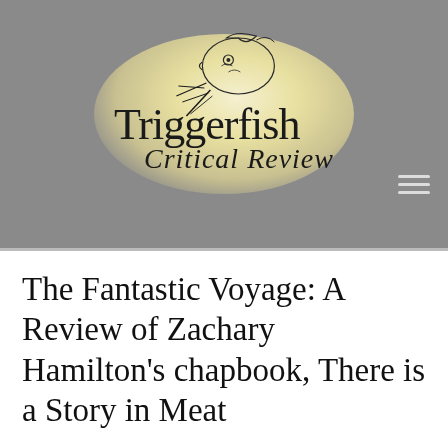[Figure (logo): Triggerfish Critical Review logo with illustrated fish head and sunburst, text reading 'Triggerfish' in serif and 'Critical Review' in italic script, on a tan/yellow radial gradient background within a gray banner]
The Fantastic Voyage: A Review of Zachary Hamilton's chapbook, There is a Story in Meat